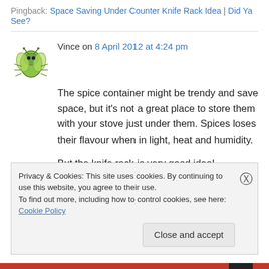Pingback: Space Saving Under Counter Knife Rack Idea | Did Ya See?
Vince on 8 April 2012 at 4:24 pm
The spice container might be trendy and save space, but it's not a great place to store them with your stove just under them. Spices loses their flavour when in light, heat and humidity.

But the knife rack is very good idea!
Privacy & Cookies: This site uses cookies. By continuing to use this website, you agree to their use.
To find out more, including how to control cookies, see here: Cookie Policy
Close and accept